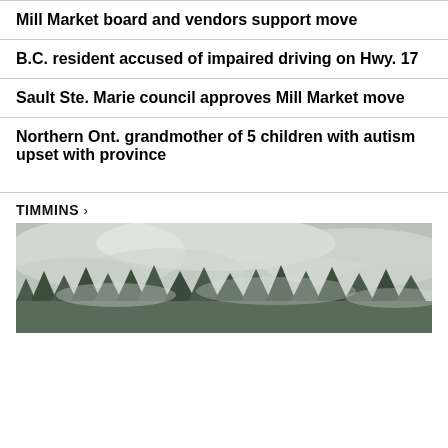Mill Market board and vendors support move
B.C. resident accused of impaired driving on Hwy. 17
Sault Ste. Marie council approves Mill Market move
Northern Ont. grandmother of 5 children with autism upset with province
TIMMINS >
[Figure (photo): Smoky forest scene with haze and trees visible through smoke, likely a forest fire near Timmins]